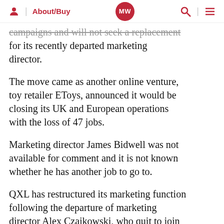MW | About/Buy
campaigns and will not seek a replacement for its recently departed marketing director.
The move came as another online venture, toy retailer EToys, announced it would be closing its UK and European operations with the loss of 47 jobs.
Marketing director James Bidwell was not available for comment and it is not known whether he has another job to go to.
QXL has restructured its marketing function following the departure of marketing director Alex Czajkowski, who quit to join